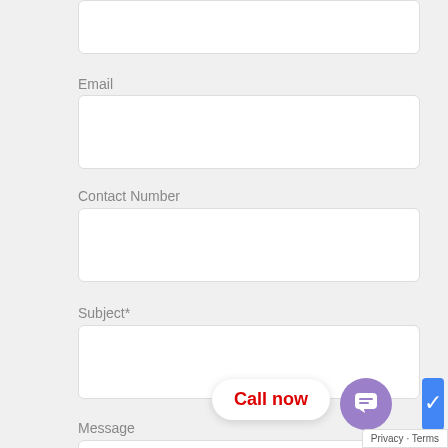[Figure (screenshot): Partial web contact form showing fields: a top partial input box (cropped), Email label and input, Contact Number label and input, Subject* label and input, Message label and partial input. A 'Call now' button bubble and a purple chat icon circle are visible at bottom right, along with a Privacy - Terms tooltip.]
Email
Contact Number
Subject*
Message
Call now
Privacy - Terms